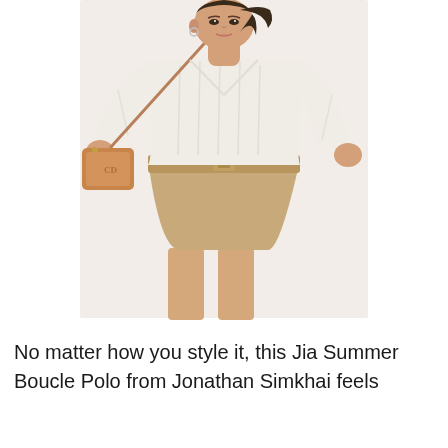[Figure (photo): A woman model wearing a white ribbed knit polo top with a V-neckline and long sleeves, tucked into beige high-waisted belted shorts. She carries a tan leather crossbody bag. The background is plain white.]
No matter how you style it, this Jia Summer Boucle Polo from Jonathan Simkhai feels